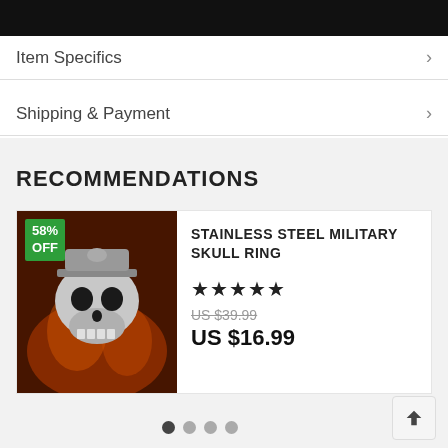[Figure (photo): Dark background image at top of page, partially visible]
Item Specifics
Shipping & Payment
RECOMMENDATIONS
[Figure (photo): Stainless steel military skull ring product photo with fiery background, 58% OFF badge]
STAINLESS STEEL MILITARY SKULL RING
★★★★★
US $39.99
US $16.99